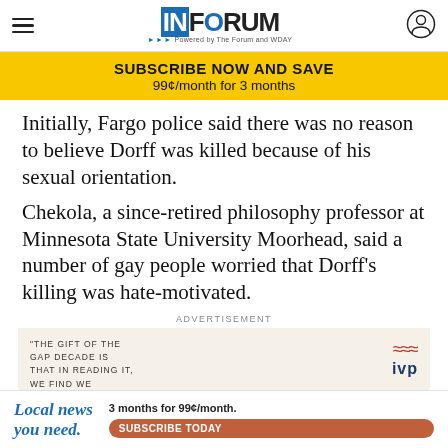INFORUM — Powered by The Forum and WDAY
[Figure (infographic): Yellow subscription banner ad: SUBSCRIBE NOW AND SAVE — 99¢/month for 3 months]
Initially, Fargo police said there was no reason to believe Dorff was killed because of his sexual orientation.
Chekola, a since-retired philosophy professor at Minnesota State University Moorhead, said a number of gay people worried that Dorff's killing was hate-motivated.
ADVERTISEMENT
[Figure (other): Book advertisement with quote: "THE GIFT OF THE GAP DECADE IS THAT IN READING IT, WE FIND WE..." with IVP publisher logo]
[Figure (infographic): Bottom sticky ad: Local news you need. 3 months for 99¢/month. SUBSCRIBE TODAY button.]